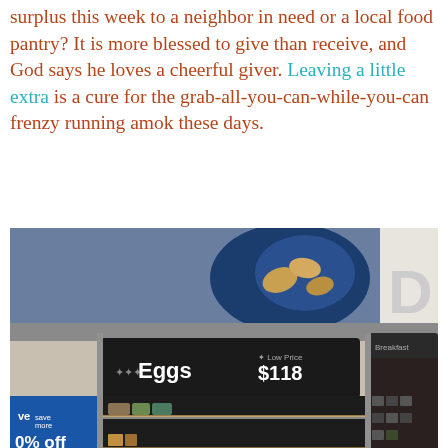surplus this week to a neighbor in need or a local food pantry? It is more blessed to give than receive, and God says he loves a cheerful giver. Leaving a little extra is a cure for the grab-all-you-can-while-you-can frenzy running amok these days.
[Figure (photo): Photo of nearly empty refrigerated egg shelves at a Walmart store. The section sign reads 'Eggs' with a price tag showing '$1.18'. A blue promotional sign on the left shows 'save even more' and '0% off'. The shelves are almost completely bare, showing the impact of panic buying during the coronavirus pandemic.]
Hoarding and being a glutton is not becoming and it does not reflect well on any of us. What if each one of us dipped into our coronavirus stash and...